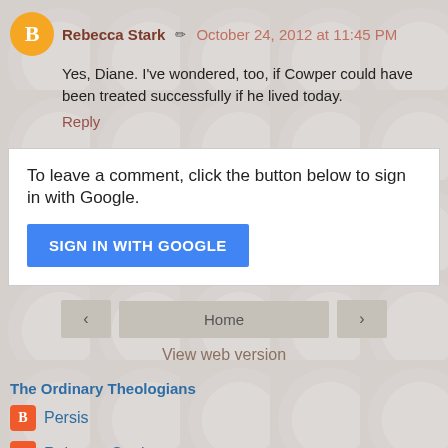Rebecca Stark  October 24, 2012 at 11:45 PM
Yes, Diane. I've wondered, too, if Cowper could have been treated successfully if he lived today.
Reply
To leave a comment, click the button below to sign in with Google.
[Figure (screenshot): SIGN IN WITH GOOGLE button]
[Figure (screenshot): Navigation buttons: left arrow, Home, right arrow]
View web version
The Ordinary Theologians
Persis
Rebecca Stark
Site Admin